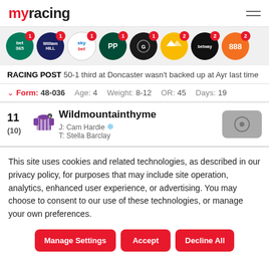myracing
[Figure (logo): Row of bookmaker logos: bet365, William Hill, Sky Bet, PP (Paddy Power), Grosvenor, Betfair, Betway, 888, each with a red notification badge showing 1 or 2]
RACING POST 50-1 third at Doncaster wasn't backed up at Ayr last time
Form: 48-036   Age: 4   Weight: 8-12   OR: 45   Days: 19
11 (10) Wildmountainthyme J: Cam Hardie T: Stella Barclay
This site uses cookies and related technologies, as described in our privacy policy, for purposes that may include site operation, analytics, enhanced user experience, or advertising. You may choose to consent to our use of these technologies, or manage your own preferences.
Manage Settings   Accept   Decline All